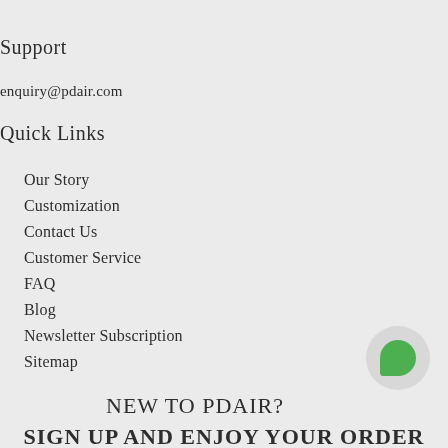Support
enquiry@pdair.com
Quick Links
Our Story
Customization
Contact Us
Customer Service
FAQ
Blog
Newsletter Subscription
Sitemap
NEW TO PDAIR?
SIGN UP AND ENJOY YOUR ORDER WITH FREE